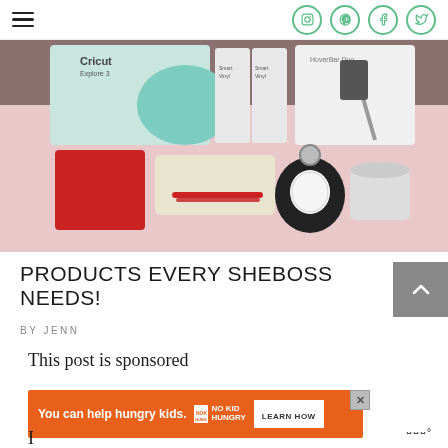Navigation and social icons header
[Figure (photo): Flat lay photo on pink background showing various products: Cricut Explore 3 cutting machine box, Smart Vinyl packages, HoverBar Duo phone stand, red leather wallet/clutch, pen set in cream box, watch on display stand, and small cylindrical speaker]
PRODUCTS EVERY SHEBOSS NEEDS!
BY JENN
This post is sponsored
[Figure (infographic): Orange advertisement banner: 'You can help hungry kids.' with No Kid Hungry logo and 'LEARN HOW' button]